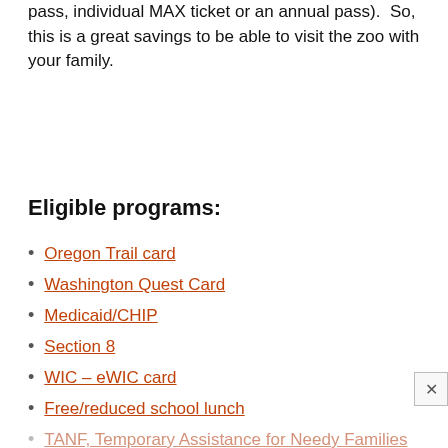pass, individual MAX ticket or an annual pass).  So, this is a great savings to be able to visit the zoo with your family.
Eligible programs:
Oregon Trail card
Washington Quest Card
Medicaid/CHIP
Section 8
WIC – eWIC card
Free/reduced school lunch
TANF, Temporary Assistance for Needy Families
Head Start